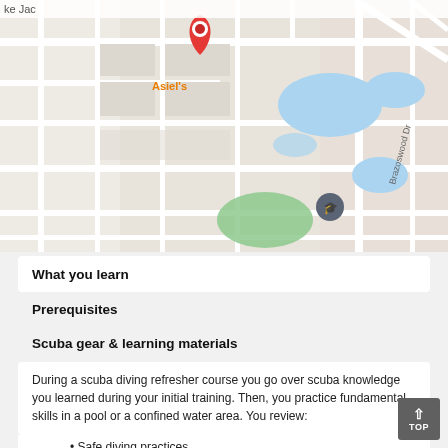[Figure (map): Google Maps screenshot showing a location pin (red marker) labeled Asiel's on a street map with roads, parks (blue lakes, green areas), and street names including Brazoswood Dr.]
What you learn
Prerequisites
Scuba gear & learning materials
During a scuba diving refresher course you go over scuba knowledge you learned during your initial training. Then, you practice fundamental skills in a pool or a confined water area. You review:
Safe diving practices